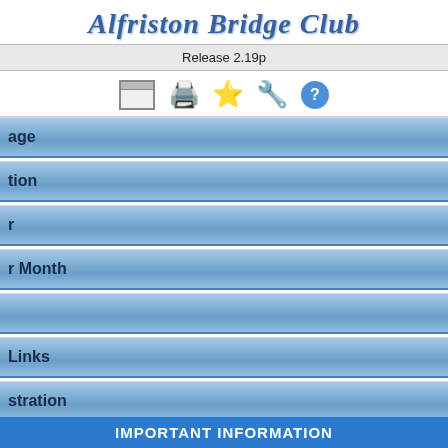Alfriston Bridge Club
Release 2.19p
[Figure (screenshot): Navigation icons: window, printer, star, tools, help]
age
tion
r
r Month
Links
stration
Webs
Switch to Desktop
IMPORTANT INFORMATION